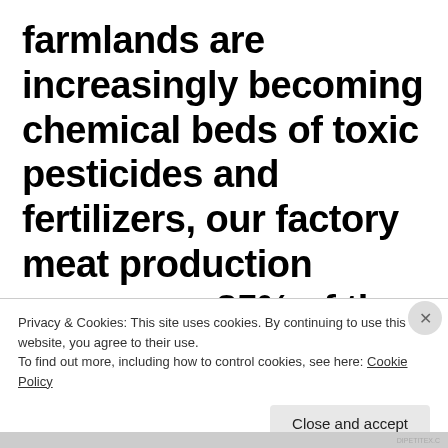farmlands are increasingly becoming chemical beds of toxic pesticides and fertilizers, our factory meat production consumes 85% of the antibiotics in this country. These pesticides, fertilizers, antibiotics, and animals
Privacy & Cookies: This site uses cookies. By continuing to use this website, you agree to their use.
To find out more, including how to control cookies, see here: Cookie Policy